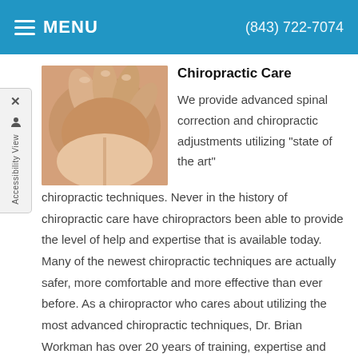MENU   (843) 722-7074
Chiropractic Care
[Figure (photo): Close-up photo of hands performing chiropractic spinal adjustment on a patient's back]
We provide advanced spinal correction and chiropractic adjustments utilizing "state of the art" chiropractic techniques. Never in the history of chiropractic care have chiropractors been able to provide the level of help and expertise that is available today. Many of the newest chiropractic techniques are actually safer, more comfortable and more effective than ever before. As a chiropractor who cares about utilizing the most advanced chiropractic techniques, Dr. Brian Workman has over 20 years of training, expertise and experience in helping patients get pain relief for back pain, neck